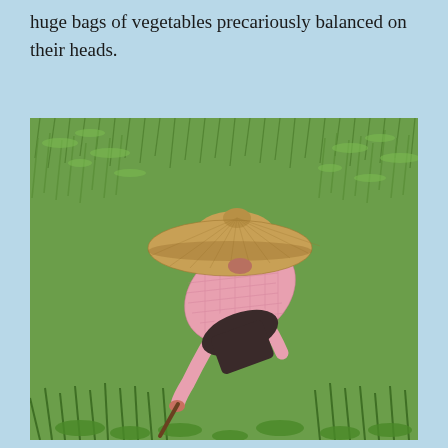huge bags of vegetables precariously balanced on their heads.
[Figure (photo): A farmer wearing a wide-brimmed conical straw hat and a pink checkered long-sleeve shirt bends over to work in a lush green rice or grass field. The person is viewed from above and behind, stooping low, with one hand reaching toward the ground among tall green grass.]